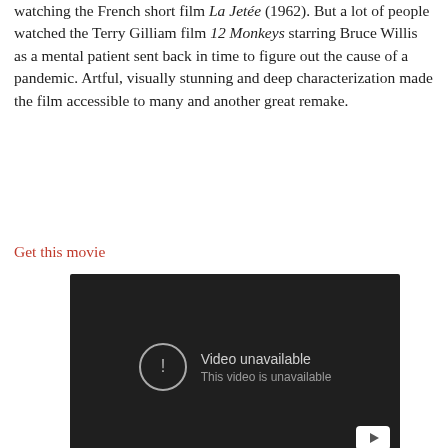watching the French short film La Jetée (1962). But a lot of people watched the Terry Gilliam film 12 Monkeys starring Bruce Willis as a mental patient sent back in time to figure out the cause of a pandemic. Artful, visually stunning and deep characterization made the film accessible to many and another great remake.
Get this movie
[Figure (screenshot): Embedded video player showing 'Video unavailable. This video is unavailable.' message on a dark background with a YouTube play button icon in the bottom right corner.]